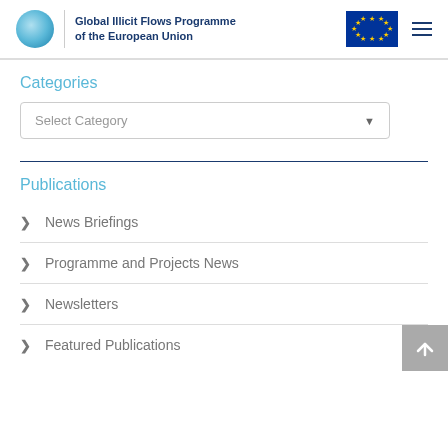Global Illicit Flows Programme of the European Union
Categories
Select Category
Publications
News Briefings
Programme and Projects News
Newsletters
Featured Publications